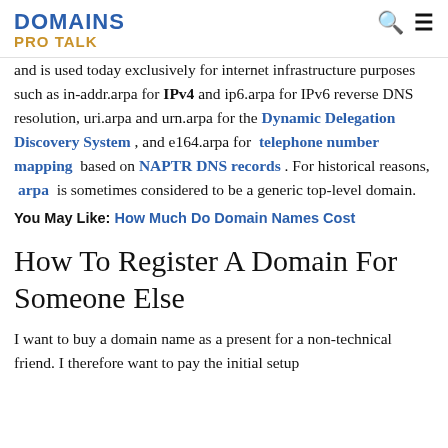DOMAINS PRO TALK
and is used today exclusively for internet infrastructure purposes such as in-addr.arpa for IPv4 and ip6.arpa for IPv6 reverse DNS resolution, uri.arpa and urn.arpa for the Dynamic Delegation Discovery System , and e164.arpa for telephone number mapping based on NAPTR DNS records . For historical reasons, arpa is sometimes considered to be a generic top-level domain.
You May Like: How Much Do Domain Names Cost
How To Register A Domain For Someone Else
I want to buy a domain name as a present for a non-technical friend. I therefore want to pay the initial setup